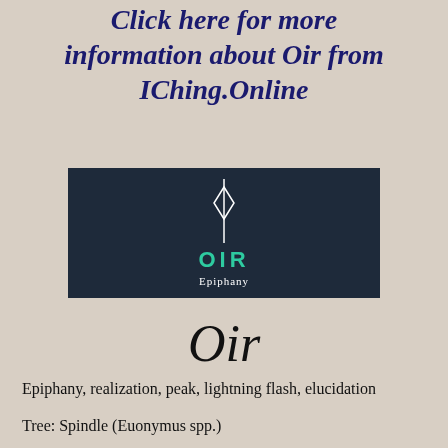Click here for more information about Oir from IChing.Online
[Figure (logo): Dark navy rectangle logo with a white diamond/arrow symbol above, teal text 'OIR' and white text 'Epiphany' below]
Oir
Epiphany, realization, peak, lightning flash, elucidation
Tree: Spindle (Euonymus spp.)